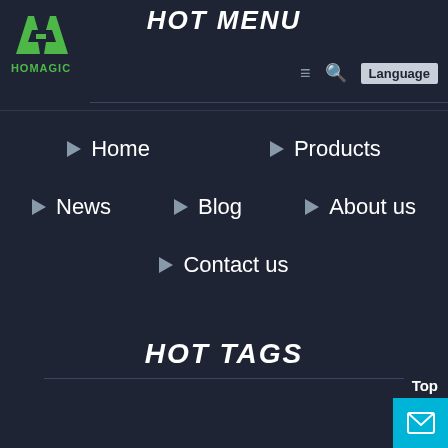HOT MENU
[Figure (logo): HOMAGIC logo with green stylized letters and company name below]
Home
Products
News
Blog
About us
Contact us
HOT TAGS